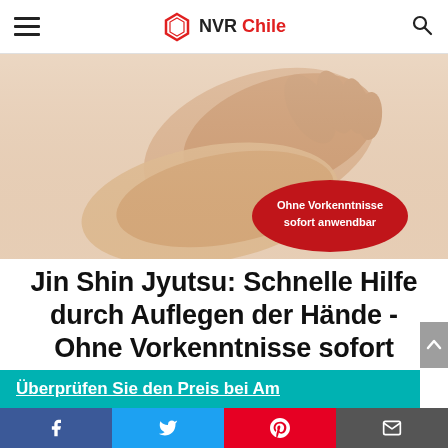NVR Chile
[Figure (photo): Hands performing Jin Shin Jyutsu healing touch, with a red oval badge reading 'Ohne Vorkenntnisse sofort anwendbar']
Jin Shin Jyutsu: Schnelle Hilfe durch Auflegen der Hände - Ohne Vorkenntnisse sofort anwendbar
Überprüfen Sie den Preis bei Am
Facebook Twitter Pinterest Email